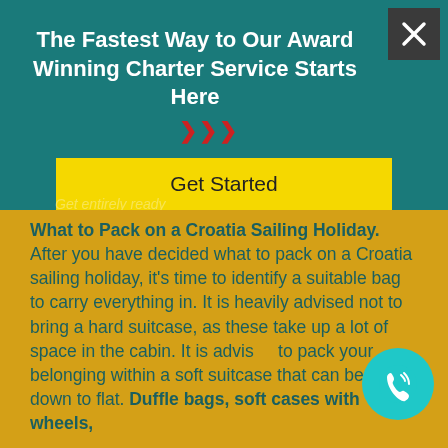The Fastest Way to Our Award Winning Charter Service Starts Here
[Figure (infographic): Red double-arrow chevrons pointing right, used as a decorative call-to-action element]
[Figure (other): Yellow 'Get Started' call-to-action button]
Get Started
What to Pack on a Croatia Sailing Holiday. After you have decided what to pack on a Croatia sailing holiday, it's time to identify a suitable bag to carry everything in. It is heavily advised not to bring a hard suitcase, as these take up a lot of space in the cabin. It is advised to pack your belonging within a soft suitcase that can be folded down to flat. Duffle bags, soft cases with wheels,
[Figure (other): Teal circle with white phone/call icon in the bottom right corner]